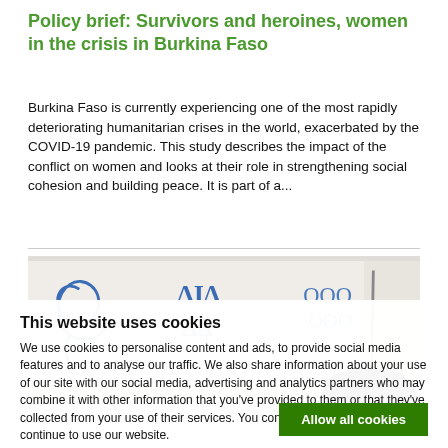Policy brief: Survivors and heroines, women in the crisis in Burkina Faso
Burkina Faso is currently experiencing one of the most rapidly deteriorating humanitarian crises in the world, exacerbated by the COVID-19 pandemic. This study describes the impact of the conflict on women and looks at their role in strengthening social cohesion and building peace. It is part of a...
[Figure (photo): Photo of a person writing on a whiteboard with blue marker drawings/text visible]
This website uses cookies
We use cookies to personalise content and ads, to provide social media features and to analyse our traffic. We also share information about your use of our site with our social media, advertising and analytics partners who may combine it with other information that you've provided to them or that they've collected from your use of their services. You consent to our cookies if you continue to use our website.